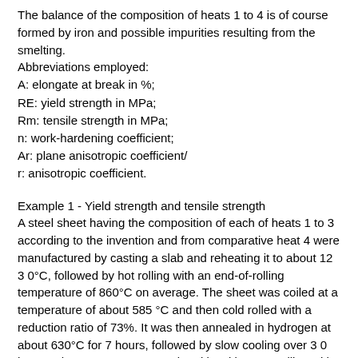The balance of the composition of heats 1 to 4 is of course formed by iron and possible impurities resulting from the smelting.
Abbreviations employed:
A: elongate at break in %;
RE: yield strength in MPa;
Rm: tensile strength in MPa;
n: work-hardening coefficient;
Ar: plane anisotropic coefficient/
r: anisotropic coefficient.
Example 1 - Yield strength and tensile strength
A steel sheet having the composition of each of heats 1 to 3 according to the invention and from comparative heat 4 were manufactured by casting a slab and reheating it to about 12 3 0°C, followed by hot rolling with an end-of-rolling temperature of 860°C on average. The sheet was coiled at a temperature of about 585 °C and then cold rolled with a reduction ratio of 73%. It was then annealed in hydrogen at about 630°C for 7 hours, followed by slow cooling over 3 0 hours. The process was completed by skin-pass rolling with a skin-pass reduction of 1 5%.